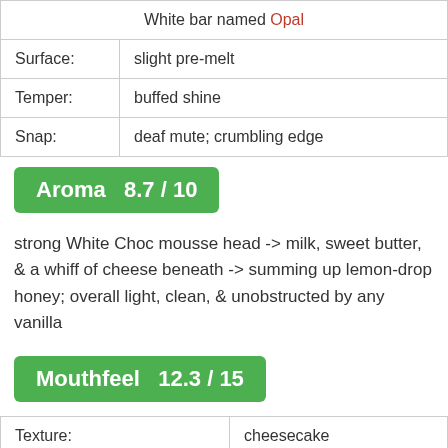|  | White bar named Opal |
| Surface: | slight pre-melt |
| Temper: | buffed shine |
| Snap: | deaf mute; crumbling edge |
Aroma   8.7 / 10
strong White Choc mousse head -> milk, sweet butter, & a whiff of cheese beneath -> summing up lemon-drop honey; overall light, clean, & unobstructed by any vanilla
Mouthfeel   12.3 / 15
| Texture: | cheesecake |
| Melt: | soft 'n dry |